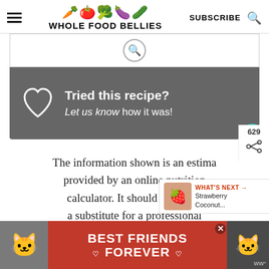WHOLE FOOD BELLIES
[Figure (infographic): Dark grey card with white heart outline icon and text: Tried this recipe? Let us know how it was!]
The information shown is an estimate provided by an online nutrition calculator. It should not be considered a substitute for a professional
[Figure (infographic): Ad banner: Best Friends Forever with two cat images on red background]